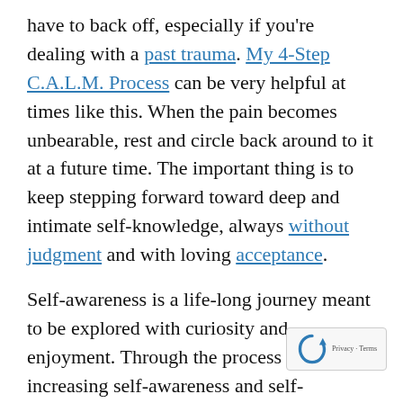have to back off, especially if you're dealing with a past trauma. My 4-Step C.A.L.M. Process can be very helpful at times like this. When the pain becomes unbearable, rest and circle back around to it at a future time. The important thing is to keep stepping forward toward deep and intimate self-knowledge, always without judgment and with loving acceptance.
Self-awareness is a life-long journey meant to be explored with curiosity and enjoyment. Through the process of increasing self-awareness and self-knowledge, the Parts of you in the shadows will emerge gradually. Here are five practical suggestions for moving forward:
1. Break your routine and quiet your mind.